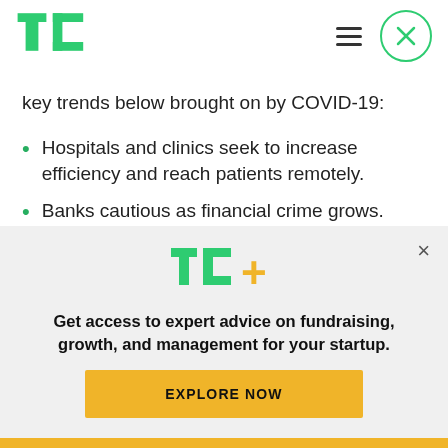[Figure (logo): TechCrunch TC logo in green]
key trends below brought on by COVID-19:
Hospitals and clinics seek to increase efficiency and reach patients remotely.
Banks cautious as financial crime grows.
Remote employee management tools for HR and finance teams.
[Figure (logo): TC+ logo in green with yellow plus sign]
Get access to expert advice on fundraising, growth, and management for your startup.
EXPLORE NOW